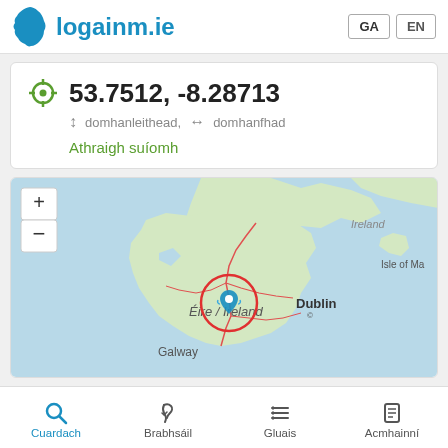logainm.ie  GA  EN
53.7512, -8.28713
↕ domhanleithead,  ↔ domhanfhad
Athraigh suíomh
[Figure (map): Interactive map of Ireland showing location marker at coordinates 53.7512, -8.28713, with a red circle around a blue location icon in the center of Ireland. Map labels include Ireland, Éire / Ireland, Dublin, Galway, Isle of Ma(n). Leaflet | OpenStreetMap attribution shown. Zoom controls (+/-) visible top left.]
Cuardach  Brabhsáil  Gluais  Acmhainní